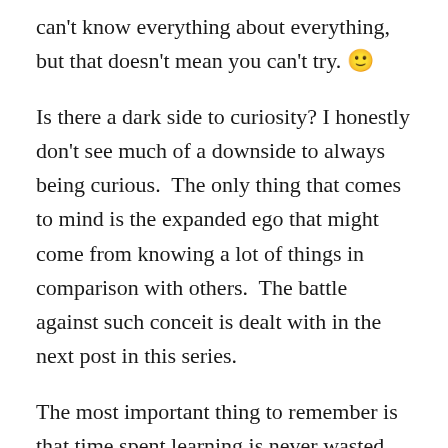can't know everything about everything, but that doesn't mean you can't try. 🙂
Is there a dark side to curiosity? I honestly don't see much of a downside to always being curious.  The only thing that comes to mind is the expanded ego that might come from knowing a lot of things in comparison with others.  The battle against such conceit is dealt with in the next post in this series.
The most important thing to remember is that time spent learning is never wasted and you should never stop.  There are a variety ways we can learn, there is a multitude of people and knowledge to learn from, and it is the best way to continue to grow in an ever changing